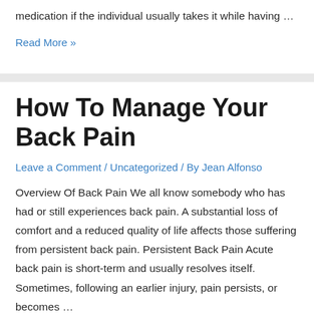medication if the individual usually takes it while having …
Read More »
How To Manage Your Back Pain
Leave a Comment / Uncategorized / By Jean Alfonso
Overview Of Back Pain We all know somebody who has had or still experiences back pain. A substantial loss of comfort and a reduced quality of life affects those suffering from persistent back pain. Persistent Back Pain Acute back pain is short-term and usually resolves itself. Sometimes, following an earlier injury, pain persists, or becomes …